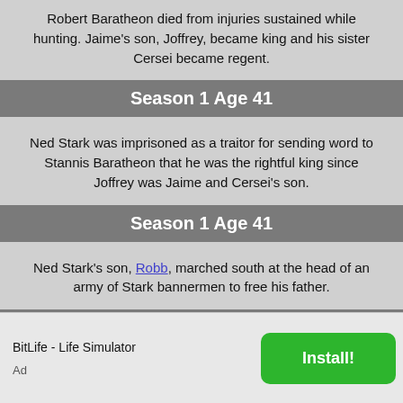Robert Baratheon died from injuries sustained while hunting. Jaime's son, Joffrey, became king and his sister Cersei became regent.
Season 1 Age 41
Ned Stark was imprisoned as a traitor for sending word to Stannis Baratheon that he was the rightful king since Joffrey was Jaime and Cersei's son.
Season 1 Age 41
Ned Stark's son, Robb, marched south at the head of an army of Stark bannermen to free his father.
Season 1 Age 41
BitLife - Life Simulator
Ad